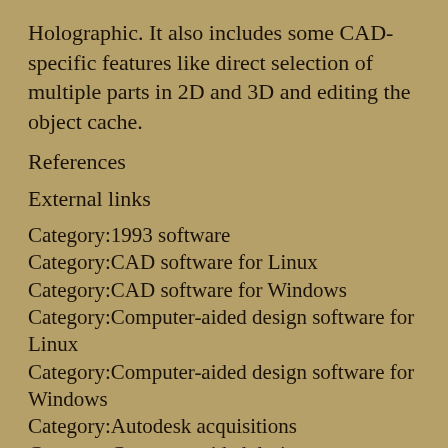Holographic. It also includes some CAD-specific features like direct selection of multiple parts in 2D and 3D and editing the object cache.
References
External links
Category:1993 software
Category:CAD software for Linux
Category:CAD software for Windows
Category:Computer-aided design software for Linux
Category:Computer-aided design software for Windows
Category:Autodesk acquisitions
Category:Computer-aided design softwarePlease share this story with your